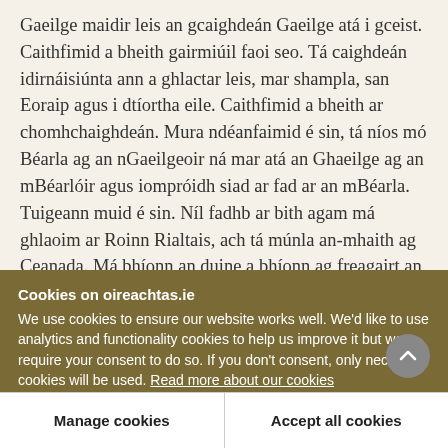Gaeilge maidir leis an gcaighdeán Gaeilge atá i gceist. Caithfimid a bheith gairmiúil faoi seo. Tá caighdeán idirnáisiúnta ann a ghlactar leis, mar shampla, san Eoraip agus i dtíortha eile. Caithfimid a bheith ar chomhchaighdeán. Mura ndéanfaimid é sin, tá níos mó Béarla ag an nGaeilgeoir ná mar atá an Ghaeilge ag an mBéarlóir agus iompróidh siad ar fad ar an mBéarla. Tuigeann muid é sin. Níl fadhb ar bith agam má ghlaoim ar Roinn Rialtais, ach tá múnla an-mhaith ag Ceanada. Má bhíonn an duine a bhíonn ag freagairt an fhóin is aon cúpla abairte
Cookies on oireachtas.ie
We use cookies to ensure our website works well. We'd like to use analytics and functionality cookies to help us improve it but we require your consent to do so. If you don't consent, only necessary cookies will be used. Read more about our cookies
Manage cookies
Accept all cookies